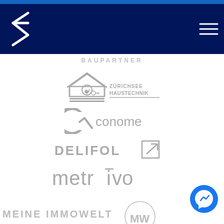[Figure (logo): Dark blue navigation bar with white S-shaped logo on left and hamburger menu icon on right]
BAUPARTNER
[Figure (logo): Zürichsee Haustechnik logo - grey house icon with text]
[Figure (logo): conome logo - grey stylized C with text conome]
[Figure (logo): DELIFOL logo with grey square icon]
[Figure (logo): metrivo logo in grey lowercase text with macron over i]
[Figure (logo): MEINE IMMOWELT logo partially visible at bottom with MW monogram]